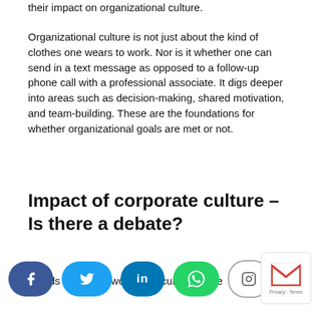their impact on organizational culture.
Organizational culture is not just about the kind of clothes one wears to work. Nor is it whether one can send in a text message as opposed to a follow-up phone call with a professional associate. It digs deeper into areas such as decision-making, shared motivation, and team-building. These are the foundations for whether organizational goals are met or not.
Impact of corporate culture – Is there a debate?
breeds an ethical workplace culture or the
[Figure (other): Social media sharing bar with Facebook, Twitter, LinkedIn, WhatsApp, and Instagram buttons overlaid on text, plus a Gmail icon in the bottom right corner.]